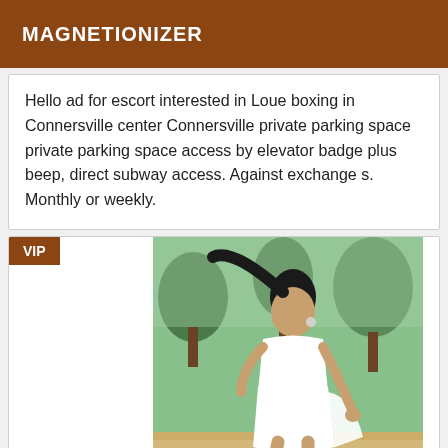MAGNETIONIZER
Hello ad for escort interested in Loue boxing in Connersville center Connersville private parking space private parking space access by elevator badge plus beep, direct subway access. Against exchange s. Monthly or weekly.
[Figure (photo): Woman in white strapless dress on a beach with trees in background. VIP badge overlay in top left.]